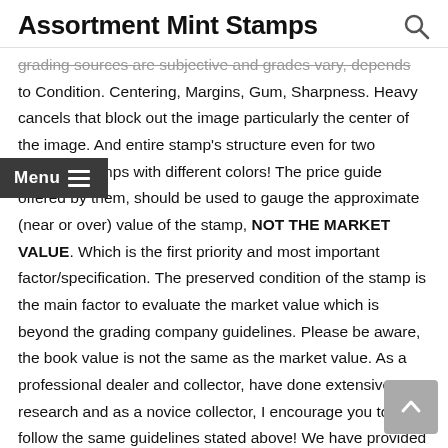Assortment Mint Stamps
grading sources are subjective and grades vary, depends to Condition. Centering, Margins, Gum, Sharpness. Heavy cancels that block out the image particularly the center of the image. And entire stamp's structure even for two identical stamps with different colors! The price guide offered by them, should be used to gauge the approximate (near or over) value of the stamp, NOT THE MARKET VALUE. Which is the first priority and most important factor/specification. The preserved condition of the stamp is the main factor to evaluate the market value which is beyond the grading company guidelines. Please be aware, the book value is not the same as the market value. As a professional dealer and collector, have done extensive research and as a novice collector, I encourage you to follow the same guidelines stated above! We have provided an extensive variety of rare Coins, Currencies and